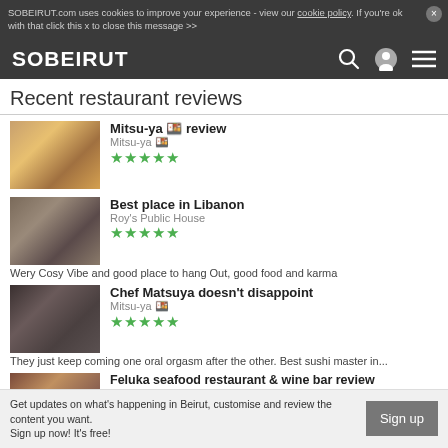SOBEIRUT.com uses cookies to improve your experience - view our cookie policy. If you're ok with that click this x to close this message >>
SOBEIRUT
Recent restaurant reviews
Mitsu-ya 🍱 review
Mitsu-ya 🍱
★★★★★
Best place in Libanon
Roy's Public House
★★★★★
Wery Cosy Vibe and good place to hang Out, good food and karma
Chef Matsuya doesn't disappoint
Mitsu-ya 🍱
★★★★★
They just keep coming one oral orgasm after the other. Best sushi master in...
Feluka seafood restaurant & wine bar review
Feluka seafood restaurant & wine bar
★★★★★
Delicious food with a unique taste. Amazing view, especially
Byblos Fishing Club - Pape Abed review
Get updates on what's happening in Beirut, customise and review the content you want.
Sign up now! It's free!